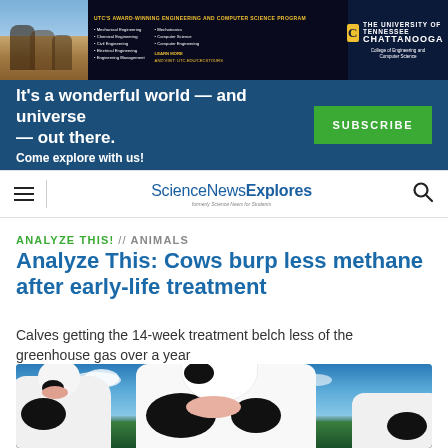[Figure (other): UTC award-winning engineering and computer science program advertisement banner with photo of students, list of programs, and University of Tennessee Chattanooga logo]
[Figure (other): Science News subscription banner: 'It's a wonderful world — and universe — out there. Come explore with us!' with green Subscribe button]
ScienceNewsExplores (formerly Science News for Students)
ANALYZE THIS! // ANIMALS
Analyze This: Cows burp less methane after early-life treatment
Calves getting the 14-week treatment belch less of the greenhouse gas over a year
[Figure (photo): Photo of black-and-white Holstein dairy cows with yellow ear tags looking at the camera against a blue sky background]